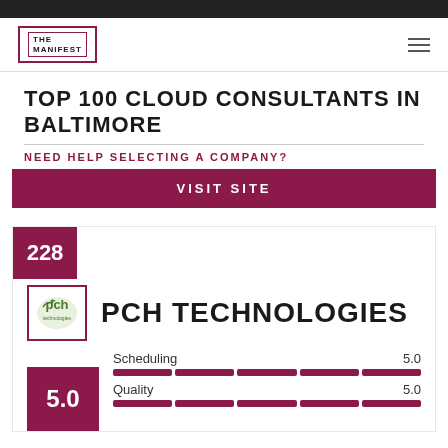THE MANIFEST
TOP 100 CLOUD CONSULTANTS IN BALTIMORE
NEED HELP SELECTING A COMPANY?
VISIT SITE
228
[Figure (logo): PCH Technologies company logo in a bordered box]
PCH TECHNOLOGIES
5.0
Scheduling 5.0
Quality 5.0